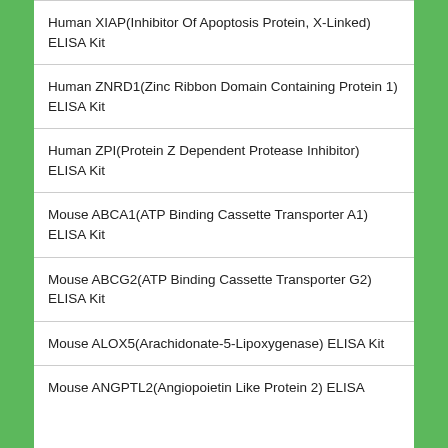Human XIAP(Inhibitor Of Apoptosis Protein, X-Linked) ELISA Kit
Human ZNRD1(Zinc Ribbon Domain Containing Protein 1) ELISA Kit
Human ZPI(Protein Z Dependent Protease Inhibitor) ELISA Kit
Mouse ABCA1(ATP Binding Cassette Transporter A1) ELISA Kit
Mouse ABCG2(ATP Binding Cassette Transporter G2) ELISA Kit
Mouse ALOX5(Arachidonate-5-Lipoxygenase) ELISA Kit
Mouse ANGPTL2(Angiopoietin Like Protein 2) ELISA Kit